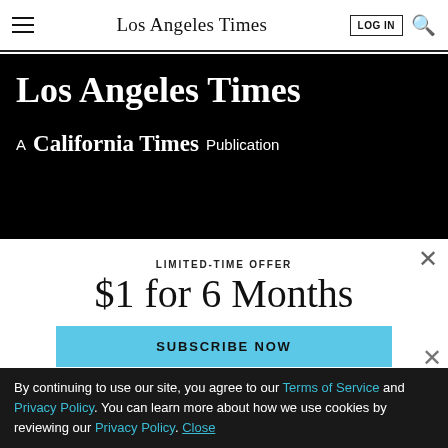Los Angeles Times
[Figure (logo): Los Angeles Times masthead on black background with 'A California Times Publication' subtitle]
LIMITED-TIME OFFER
$1 for 6 Months
SUBSCRIBE NOW
By continuing to use our site, you agree to our Terms of Service and Privacy Policy. You can learn more about how we use cookies by reviewing our Privacy Policy. Close